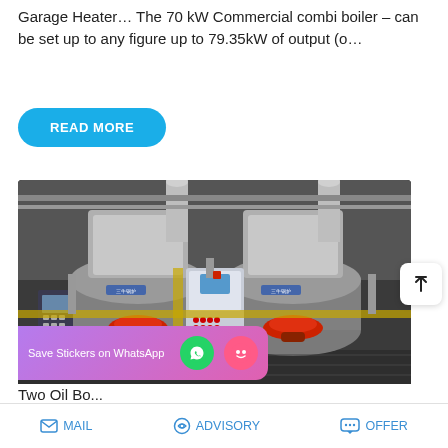Garage Heater… The 70 kW Commercial combi boiler – can be set up to any figure up to 79.35kW of output (o…
READ MORE
[Figure (photo): Industrial boiler room showing two large cylindrical steam boilers with red burners, silver flue stacks, control panels and yellow gas pipework. A control cabinet is visible in the center.]
Save Stickers on WhatsApp
MAIL   ADVISORY   OFFER